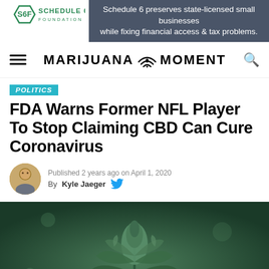[Figure (logo): Schedule 6 Foundation logo with S6F emblem and organization name]
Schedule 6 preserves state-licensed small businesses while fixing financial access & tax problems.
MARIJUANA MOMENT
POLITICS
FDA Warns Former NFL Player To Stop Claiming CBD Can Cure Coronavirus
Published 2 years ago on April 1, 2020
By Kyle Jaeger
[Figure (photo): Close-up photograph of a cannabis plant with green leaves and a flowering bud]